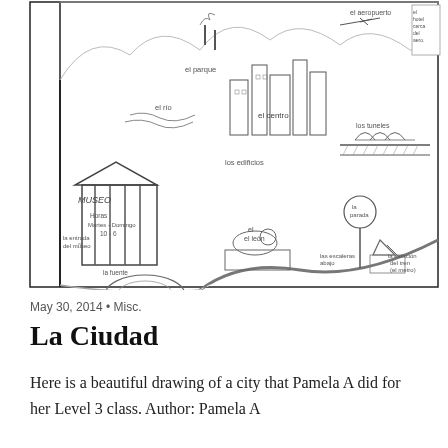[Figure (illustration): A hand-drawn pencil sketch of a city scene ('La Ciudad') showing a museum (MUSEO) with hours Martes-Domingo 10-6, a plaza with a fountain, buildings (los edificios), el centro, el río, el parque, el aeropuerto, el hotel cerca del aero, los túneles, a bus stop (la parada), las escaleras abajo, la estación del tren (el metro), a lion sculpture (el león), la entrada del museo, la fuente, and an airplane flying overhead.]
May 30, 2014 • Misc.
La Ciudad
Here is a beautiful drawing of a city that Pamela A did for her Level 3 class. Author: Pamela A